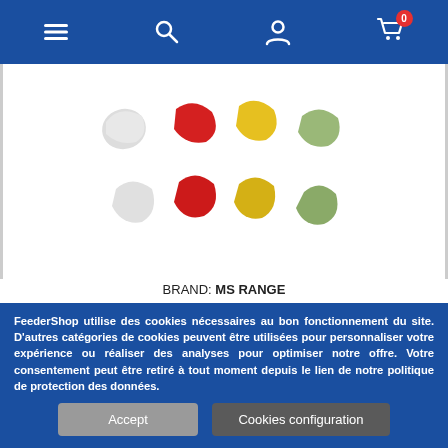Navigation bar with menu, search, account, and cart (0 items)
[Figure (photo): Eight artificial corn (mais artificiel) fishing baits in white, red, yellow, and green colors arranged in two rows on a white background]
BRAND: MS RANGE
MAIS ARTIFICIEL 8MM MS RANGE
20 pièces par sachet
€1.70
FeederShop utilise des cookies nécessaires au bon fonctionnement du site. D'autres catégories de cookies peuvent être utilisées pour personnaliser votre expérience ou réaliser des analyses pour optimiser notre offre. Votre consentement peut être retiré à tout moment depuis le lien de notre politique de protection des données.
Accept  |  Cookies configuration